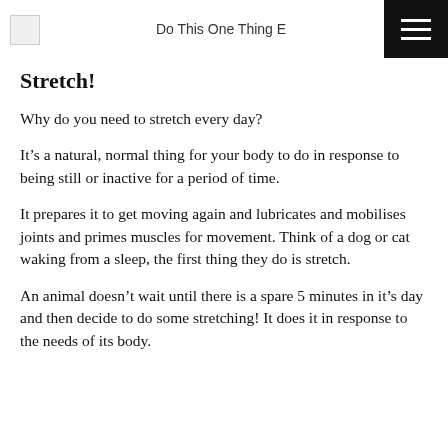Do This One Thing E
Stretch!
Why do you need to stretch every day?
It’s a natural, normal thing for your body to do in response to being still or inactive for a period of time.
It prepares it to get moving again and lubricates and mobilises joints and primes muscles for movement. Think of a dog or cat waking from a sleep, the first thing they do is stretch.
An animal doesn’t wait until there is a spare 5 minutes in it’s day and then decide to do some stretching! It does it in response to the needs of its body.